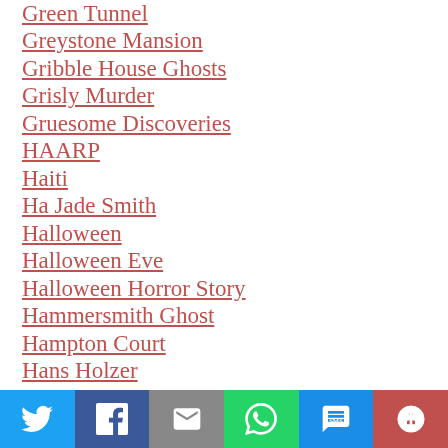Green Tunnel
Greystone Mansion
Gribble House Ghosts
Grisly Murder
Gruesome Discoveries
HAARP
Haiti
Ha Jade Smith
Halloween
Halloween Eve
Halloween Horror Story
Hammersmith Ghost
Hampton Court
Hans Holzer
Hatchet Murder
Hat Squad
Haunted Alabama
[Figure (other): Social sharing bar with Twitter, Facebook, Email, WhatsApp, SMS, and More buttons]